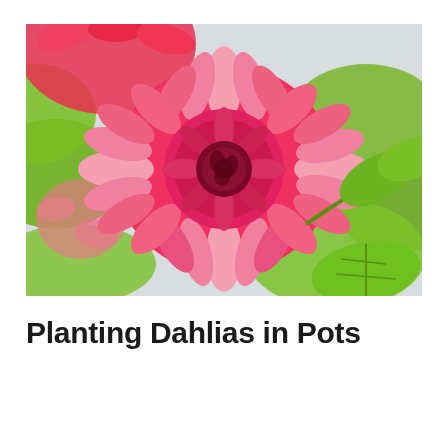[Figure (photo): Close-up photograph of vibrant pink/red dahlia flowers in bloom with green leaves in the background against a light grey/white background. Multiple dahlias visible with one large bloom in the center foreground.]
Planting Dahlias in Pots